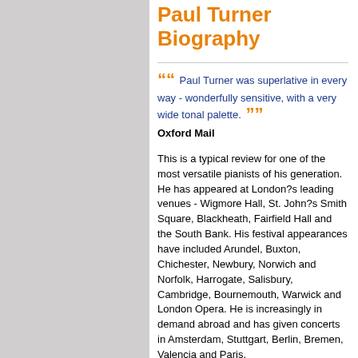Paul Turner Biography
Paul Turner was superlative in every way - wonderfully sensitive, with a very wide tonal palette. Oxford Mail
This is a typical review for one of the most versatile pianists of his generation. He has appeared at London?s leading venues - Wigmore Hall, St. John?s Smith Square, Blackheath, Fairfield Hall and the South Bank. His festival appearances have included Arundel, Buxton, Chichester, Newbury, Norwich and Norfolk, Harrogate, Salisbury, Cambridge, Bournemouth, Warwick and London Opera. He is increasingly in demand abroad and has given concerts in Amsterdam, Stuttgart, Berlin, Bremen, Valencia and Paris.
With Maria Ewing, Paul gave two acclaimed concerts in the Theatre de Colon, Buenos Aires. He has also worked with other eminent singers and instrumentalists, including Sarah